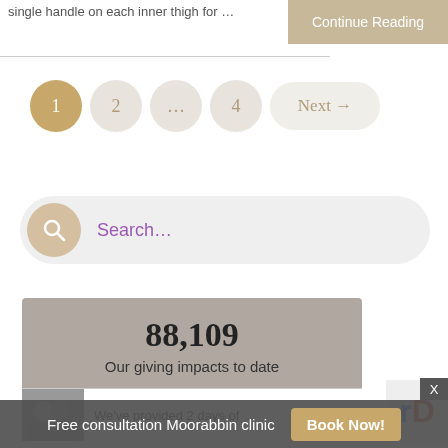single handle on each inner thigh for …
Continue Reading
1
2
…
4
Next →
Search...
88,109
Our giving impacts to date
We've provided 2 days of
Free consultation Moorabbin clinic
Book Now!
X